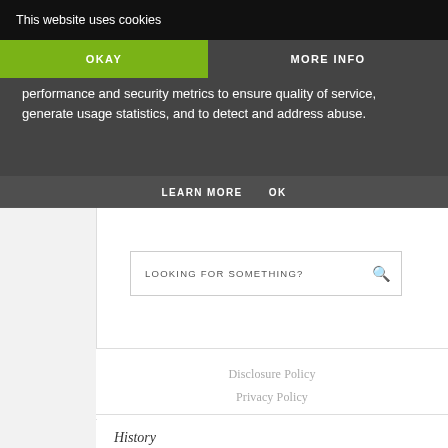This website uses cookies
OKAY
MORE INFO
performance and security metrics to ensure quality of service, generate usage statistics, and to detect and address abuse.
LEARN MORE  OK
LOOKING FOR SOMETHING?
Disclosure Policy
Privacy Policy
History